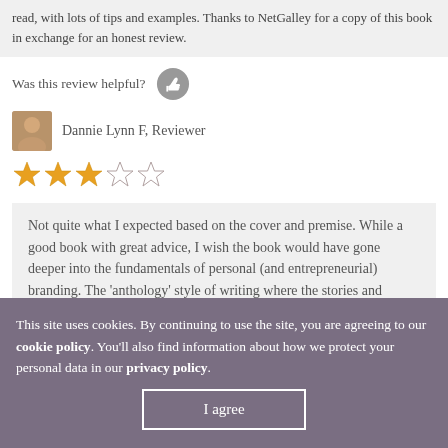read, with lots of tips and examples. Thanks to NetGalley for a copy of this book in exchange for an honest review.
Was this review helpful?
Dannie Lynn F, Reviewer
3 out of 5 stars
Not quite what I expected based on the cover and premise. While a good book with great advice, I wish the book would have gone deeper into the fundamentals of personal (and entrepreneurial) branding. The 'anthology' style of writing where the stories and inspiration were
This site uses cookies. By continuing to use the site, you are agreeing to our cookie policy. You'll also find information about how we protect your personal data in our privacy policy.
I agree